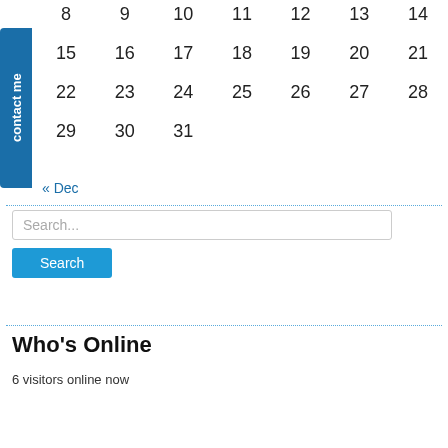contact me
| 8 | 9 | 10 | 11 | 12 | 13 | 14 |
| 15 | 16 | 17 | 18 | 19 | 20 | 21 |
| 22 | 23 | 24 | 25 | 26 | 27 | 28 |
| 29 | 30 | 31 |  |  |  |  |
« Dec
Search...
Search
Who's Online
6 visitors online now